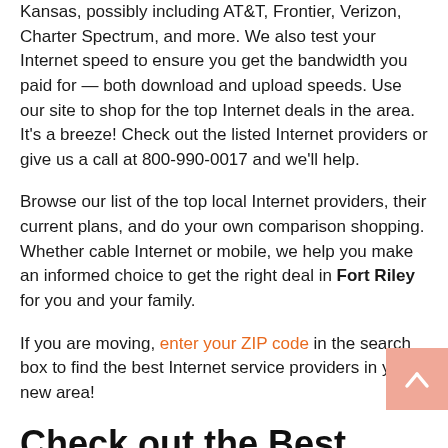Kansas, possibly including AT&T, Frontier, Verizon, Charter Spectrum, and more. We also test your Internet speed to ensure you get the bandwidth you paid for — both download and upload speeds. Use our site to shop for the top Internet deals in the area. It's a breeze! Check out the listed Internet providers or give us a call at 800-990-0017 and we'll help.
Browse our list of the top local Internet providers, their current plans, and do your own comparison shopping. Whether cable Internet or mobile, we help you make an informed choice to get the right deal in Fort Riley for you and your family.
If you are moving, enter your ZIP code in the search box to find the best Internet service providers in your new area!
Check out the Best Digital